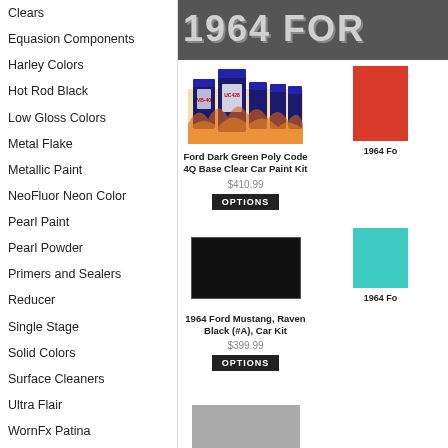Clears
Equasion Components
Harley Colors
Hot Rod Black
Low Gloss Colors
Metal Flake
Metallic Paint
NeoFluor Neon Color
Pearl Paint
Pearl Powder
Primers and Sealers
Reducer
Single Stage
Solid Colors
Surface Cleaners
Ultra Flair
WornFx Patina
Pop Culture Colors
[Figure (photo): Banner image showing 1964 Ford logo in large grey letters on dark background]
[Figure (photo): Paint cans product image for Ford Dark Green Poly Code 4Q Base Clear Car Paint Kit]
Ford Dark Green Poly Code 4Q Base Clear Car Paint Kit
$410.99
OPTIONS
[Figure (photo): Partial product image (red color swatch) for 1964 Ford product]
1964 Fo...
[Figure (photo): Black color swatch rectangle for 1964 Ford Mustang Raven Black car kit]
1964 Ford Mustang, Raven Black (#A), Car Kit
$399.99
OPTIONS
[Figure (photo): Teal/turquoise color swatch for 1964 Ford product]
1964 Fo...
[Figure (photo): Partial grey swatch at bottom of page]